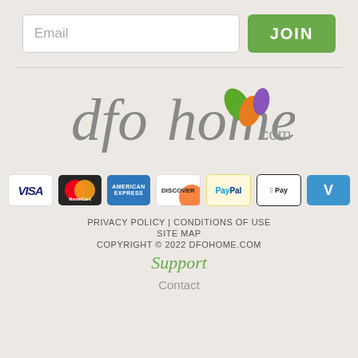[Figure (screenshot): Email input field with placeholder text 'Email' and a green JOIN button]
[Figure (logo): dfohome.com logo with colorful leaf icons]
[Figure (infographic): Row of payment method logos: VISA, MasterCard, American Express, Discover, PayPal, Apple Pay, Venmo]
PRIVACY POLICY | CONDITIONS OF USE
SITE MAP
COPYRIGHT © 2022 DFOHOME.COM
Support
Contact